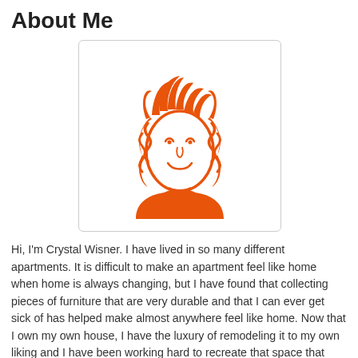About Me
[Figure (illustration): Orange line-art illustration of a woman with curly hair, smiling, shown from the shoulders up, on a white background with light gray border.]
Hi, I'm Crystal Wisner. I have lived in so many different apartments. It is difficult to make an apartment feel like home when home is always changing, but I have found that collecting pieces of furniture that are very durable and that I can ever get sick of has helped make almost anywhere feel like home. Now that I own my own house, I have the luxury of remodeling it to my own liking and I have been working hard to recreate that space that makes me feel comfortable. I have learned so much about remodeling that i have decided to create a blog focused on it.